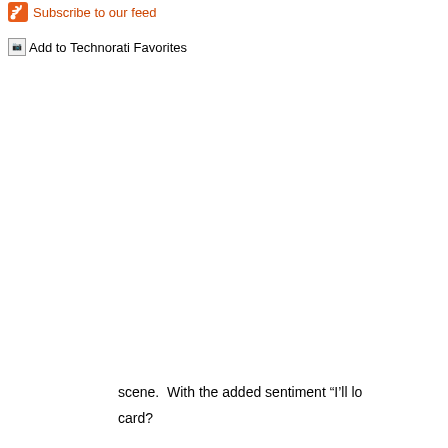[Figure (logo): Orange RSS feed icon with white radio wave arcs]
Subscribe to our feed
[Figure (illustration): Broken image placeholder icon for Technorati Favorites]
Add to Technorati Favorites
scene.  With the added sentiment “I’ll lo
card?